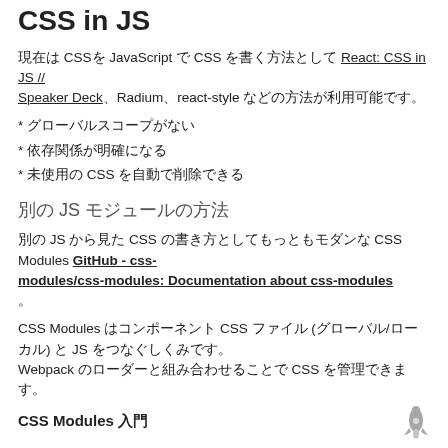CSS in JS
現在は CSSを JavaScript で CSS を書く方法として React: CSS in JS // Speaker Deck、Radium、react-style などの方法が利用可能です。
* グローバルスコープがない
* 依存関係が明確になる
* 未使用の CSS を自動で削除できる
別の JS モジュールの方法
別の JS から見た CSS の書き方としてもっともモダンな CSS Modules GitHub - css-modules/css-modules: Documentation about css-modules。
CSS Modules はコンポーネント CSS ファイル (グローバル/ローカル) と JS をつなぐしくみです。 Webpack のローダーと組み合わせることで CSS を管理できます。
CSS Modules 入門